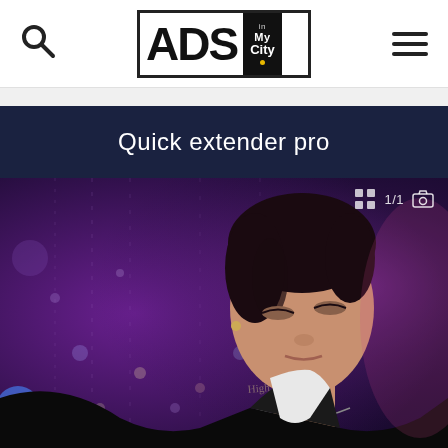[Figure (logo): ADS inMyCity logo in header with search icon and hamburger menu]
Quick extender pro
[Figure (photo): Young man with dark hair wearing a leather jacket over white shirt with neck tattoo, performing on stage with purple/blue bokeh background. Photo viewer overlay showing grid icon, '1/1', and camera icon.]